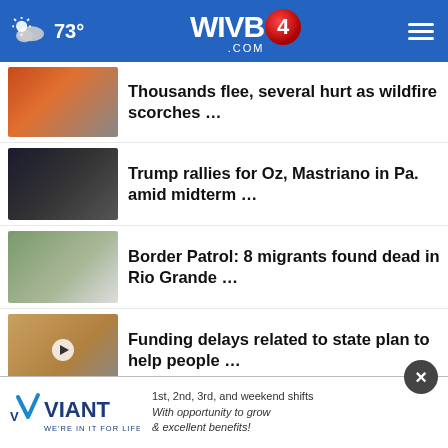73° WIVB4.COM
Thousands flee, several hurt as wildfire scorches …
Trump rallies for Oz, Mastriano in Pa. amid midterm …
Border Patrol: 8 migrants found dead in Rio Grande …
Funding delays related to state plan to help people …
Northern California wildfire burns homes, causes …
"We have a shell": Buffalo Public Schools
[Figure (infographic): Viant advertisement banner: logo with V checkmark and tagline WE'RE IN IT FOR LIFE. Text: 1st, 2nd, 3rd, and weekend shifts. With opportunity to grow & excellent benefits!]